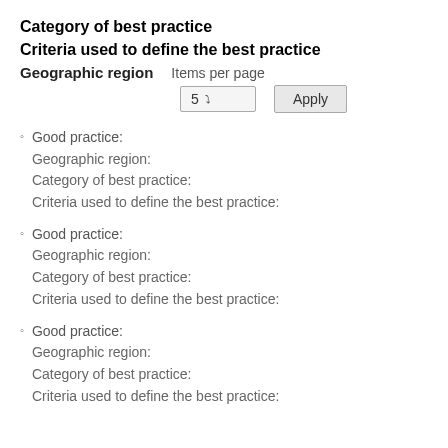Category of best practice
Criteria used to define the best practice
Geographic region    Items per page
5 ▾   Apply
Good practice:
Geographic region:
Category of best practice:
Criteria used to define the best practice:
Good practice:
Geographic region:
Category of best practice:
Criteria used to define the best practice:
Good practice:
Geographic region:
Category of best practice:
Criteria used to define the best practice: